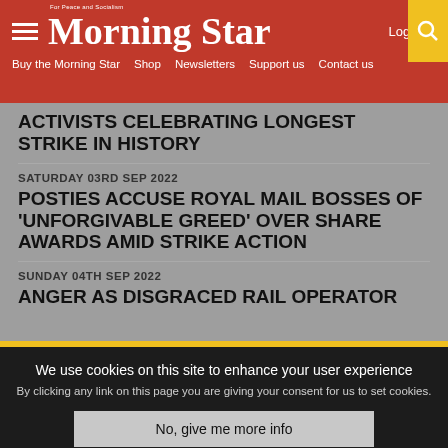Morning Star — For Peace and Socialism. Navigation: Buy the Morning Star, Shop, Newsletters, Support us, Contact us. Log in.
ACTIVISTS CELEBRATING LONGEST STRIKE IN HISTORY
SATURDAY 03RD SEP 2022
POSTIES ACCUSE ROYAL MAIL BOSSES OF 'UNFORGIVABLE GREED' OVER SHARE AWARDS AMID STRIKE ACTION
SUNDAY 04TH SEP 2022
ANGER AS DISGRACED RAIL OPERATOR
We use cookies on this site to enhance your user experience By clicking any link on this page you are giving your consent for us to set cookies.
No, give me more info
OK, I agree